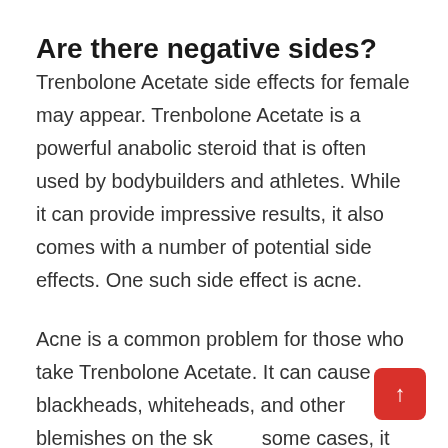Are there negative sides?
Trenbolone Acetate side effects for female may appear. Trenbolone Acetate is a powerful anabolic steroid that is often used by bodybuilders and athletes. While it can provide impressive results, it also comes with a number of potential side effects. One such side effect is acne.
Acne is a common problem for those who take Trenbolone Acetate. It can cause blackheads, whiteheads, and other blemishes on the skin. In some cases, it can be quite severe and may